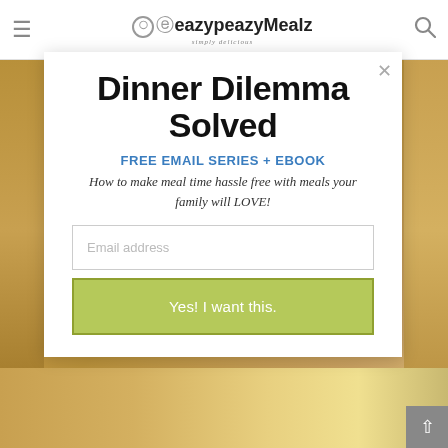eazypeazyMealz simply delicious
Dinner Dilemma Solved
FREE EMAIL SERIES + EBOOK
How to make meal time hassle free with meals your family will LOVE!
Email address
Yes! I want this.